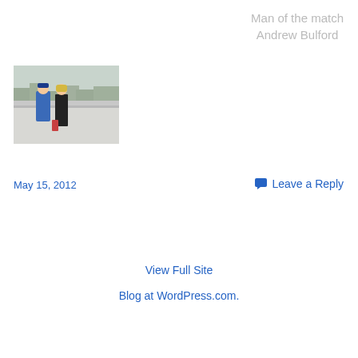Man of the match
Andrew Bulford
[Figure (photo): Two people standing at a railing on a rooftop or elevated area, one wearing a blue jacket and one in black, with a cityscape visible in the background.]
May 15, 2012
Leave a Reply
View Full Site
Blog at WordPress.com.